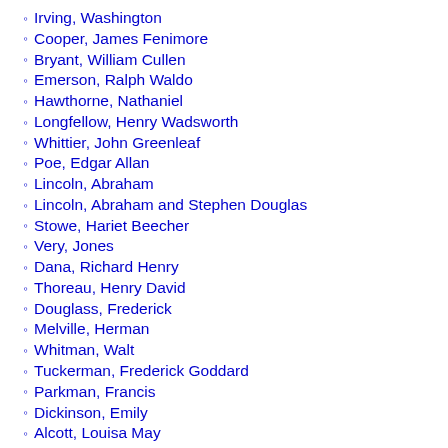Irving, Washington
Cooper, James Fenimore
Bryant, William Cullen
Emerson, Ralph Waldo
Hawthorne, Nathaniel
Longfellow, Henry Wadsworth
Whittier, John Greenleaf
Poe, Edgar Allan
Lincoln, Abraham
Lincoln, Abraham and Stephen Douglas
Stowe, Hariet Beecher
Very, Jones
Dana, Richard Henry
Thoreau, Henry David
Douglass, Frederick
Melville, Herman
Whitman, Walt
Tuckerman, Frederick Goddard
Parkman, Francis
Dickinson, Emily
Alcott, Louisa May
Twain, Mark
Howells, William Dean
Adams, Henry
Lanier, Sidney
James, William
Bierce, Ambrose
James, Henry
Jewett, Sarah Orne